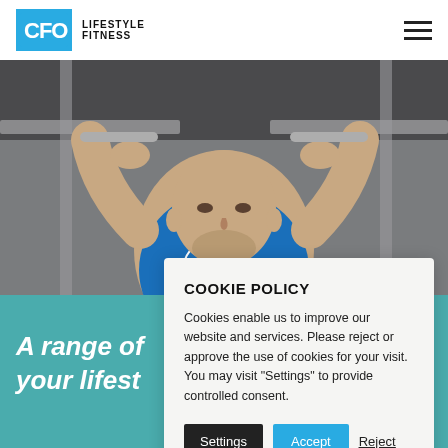CFO Lifestyle Fitness
[Figure (photo): A muscular man in a blue graphic t-shirt doing pull-ups on metal bars in a gym, viewed from below looking up]
A range of... your lifest...
COOKIE POLICY
Cookies enable us to improve our website and services. Please reject or approve the use of cookies for your visit. You may visit "Settings" to provide controlled consent.
Settings  Accept  Reject